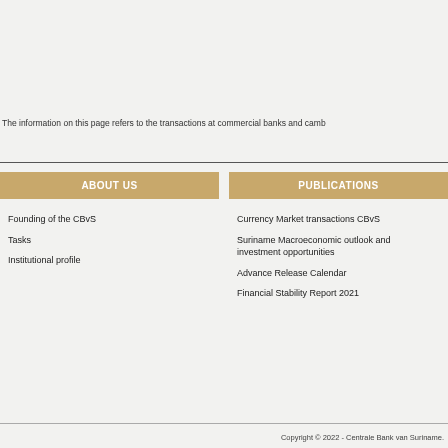The information on this page refers to the transactions at commercial banks and camb
ABOUT US
Founding of the CBvS
Tasks
Institutional profile
PUBLICATIONS
Currency Market transactions CBvS
Suriname Macroeconomic outlook and investment opportunities
Advance Release Calendar
Financial Stability Report 2021
Copyright © 2022 - Centrale Bank van Suriname.